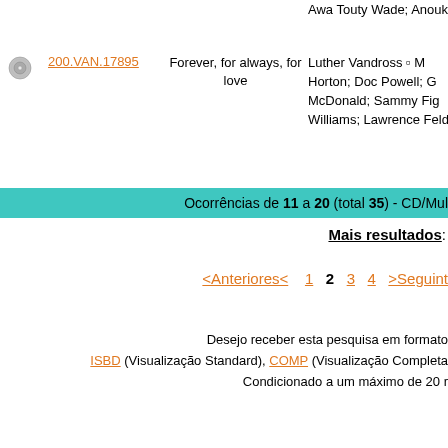Awa Touty Wade; Anouk...
200.VAN.17895 | Forever, for always, for love | Luther Vandross □ M... Horton; Doc Powell; G... McDonald; Sammy Fig... Williams; Lawrence Feld...
Ocorrências de 11 a 20 (total 35) - CD/Mul...
Mais resultados:
<Anteriores<  1  2  3  4  >Seguint...
Desejo receber esta pesquisa em formato... ISBD (Visualização Standard), COMP (Visualização Completa... Condicionado a um máximo de 20 r...